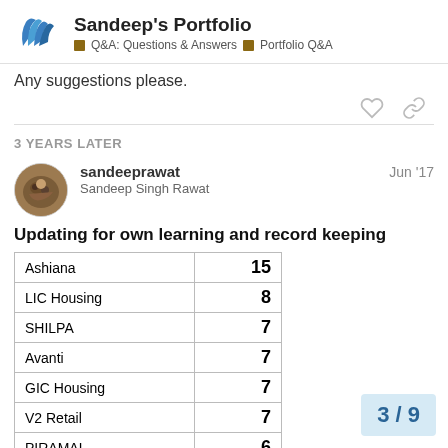Sandeep's Portfolio — Q&A: Questions & Answers — Portfolio Q&A
Any suggestions please.
3 YEARS LATER
sandeeprawat Jun '17
Sandeep Singh Rawat
Updating for own learning and record keeping
| Ashiana | 15 |
| LIC Housing | 8 |
| SHILPA | 7 |
| Avanti | 7 |
| GIC Housing | 7 |
| V2 Retail | 7 |
| PIRAMAL | 6 |
3 / 9